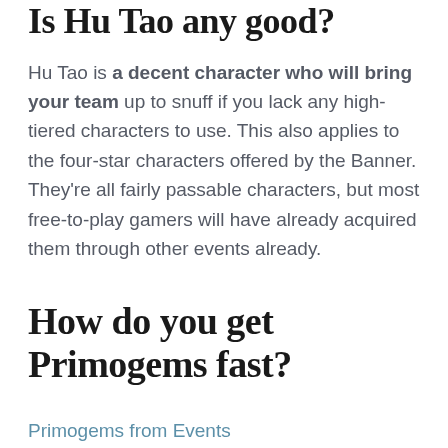Is Hu Tao any good?
Hu Tao is a decent character who will bring your team up to snuff if you lack any high-tiered characters to use. This also applies to the four-star characters offered by the Banner. They’re all fairly passable characters, but most free-to-play gamers will have already acquired them through other events already.
How do you get Primogems fast?
Primogems from Events
One of the easiest ways to get fast Primogems is to...